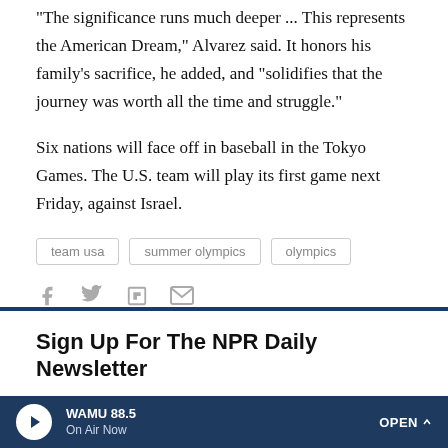"The significance runs much deeper ... This represents the American Dream," Alvarez said. It honors his family's sacrifice, he added, and "solidifies that the journey was worth all the time and struggle."
Six nations will face off in baseball in the Tokyo Games. The U.S. team will play its first game next Friday, against Israel.
team usa
summer olympics
olympics
[Figure (other): Social share icons: Facebook, Twitter, Flipboard, Email]
Sign Up For The NPR Daily Newsletter
WAMU 88.5 On Air Now OPEN